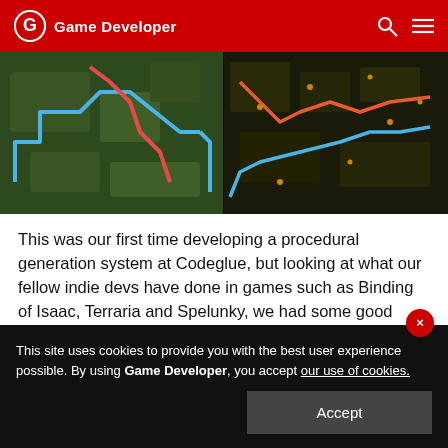Game Developer
[Figure (screenshot): Game map screenshot showing procedural generation paths with blue and red/orange route overlays on two side-by-side map views]
This was our first time developing a procedural generation system at Codeglue, but looking at what our fellow indie devs have done in games such as Binding of Isaac, Terraria and Spelunky, we had some good ideas on how to approach this difficult challenge.
This site uses cookies to provide you with the best user experience possible. By using Game Developer, you accept our use of cookies.